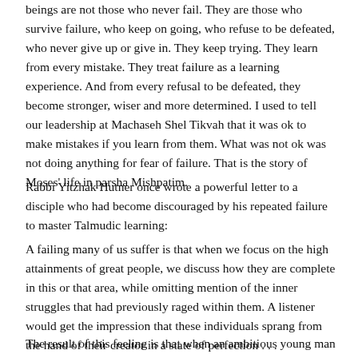beings are not those who never fail. They are those who survive failure, who keep on going, who refuse to be defeated, who never give up or give in. They keep trying. They learn from every mistake. They treat failure as a learning experience. And from every refusal to be defeated, they become stronger, wiser and more determined. I used to tell our leadership at Machaseh Shel Tikvah that it was ok to make mistakes if you learn from them. What was not ok was not doing anything for fear of failure. That is the story of Moses' life in parsha Mishpatim.
Rabbi Yitzhak Hutner once wrote a powerful letter to a disciple who had become discouraged by his repeated failure to master Talmudic learning:
A failing many of us suffer is that when we focus on the high attainments of great people, we discuss how they are complete in this or that area, while omitting mention of the inner struggles that had previously raged within them. A listener would get the impression that these individuals sprang from the hand of their creator in a state of perfection . . .
The result of this feeling is that when an ambitious young man of spirit and enthusiasm meets obstacles, falls and slumps, he imagines himself as